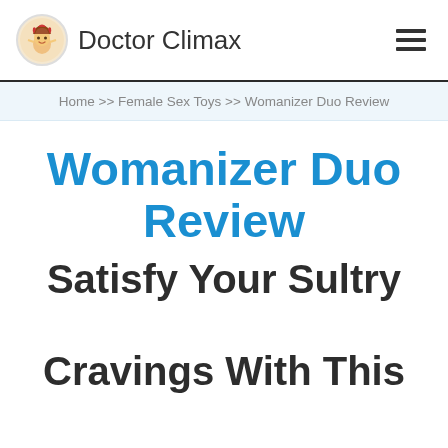Doctor Climax
Home >> Female Sex Toys >> Womanizer Duo Review
Womanizer Duo Review
Satisfy Your Sultry Cravings With This Toy